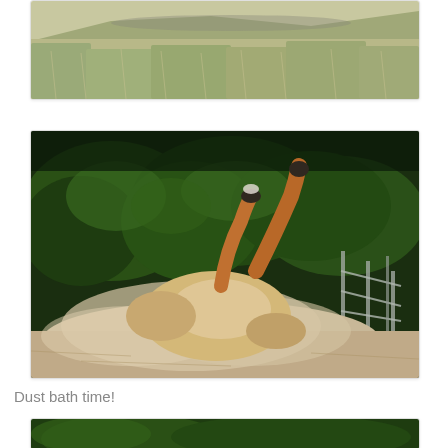[Figure (photo): Partial photo of a hillside with dry yellow grasses and silver-green shrubs under bright sunlight.]
[Figure (photo): A horse rolling on its back in a dusty paddock with legs in the air, green trees in background, metal fence visible on the right, dust cloud around the horse.]
Dust bath time!
[Figure (photo): Partial bottom photo showing green trees.]